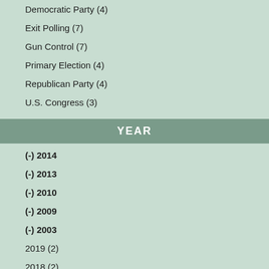Democratic Party (4)
Exit Polling (7)
Gun Control (7)
Primary Election (4)
Republican Party (4)
U.S. Congress (3)
YEAR
(-) 2014
(-) 2013
(-) 2010
(-) 2009
(-) 2003
2019 (2)
2018 (2)
2017 (4)
2016 (4)
2015 (4)
2012 (4)